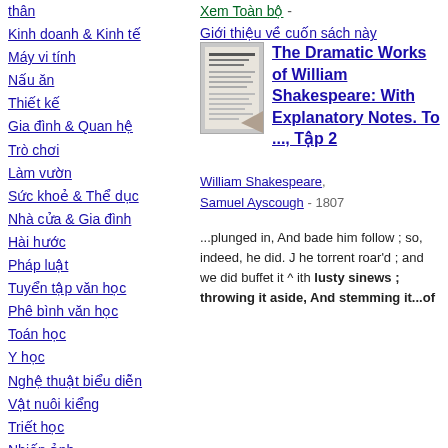thân
Kinh doanh & Kinh tế
Máy vi tính
Nấu ăn
Thiết kế
Gia đình & Quan hệ
Trò chơi
Làm vườn
Sức khoẻ & Thể dục
Nhà cửa & Gia đình
Hài hước
Pháp luật
Tuyển tập văn học
Phê bình văn học
Toán học
Y học
Nghệ thuật biểu diễn
Vật nuôi kiểng
Triết học
Nhiếp ảnh
Thơ
Khoa học chính trị
Tâm lý
Xem Toàn bộ - Giới thiệu về cuốn sách này
[Figure (photo): Book cover thumbnail for The Dramatic Works of William Shakespeare]
The Dramatic Works of William Shakespeare: With Explanatory Notes. To ..., Tập 2
William Shakespeare, Samuel Ayscough - 1807
...plunged in, And bade him follow ; so, indeed, he did. J he torrent roar'd ; and we did buffet it ^ ith lusty sinews ; throwing it aside, And stemming it...of